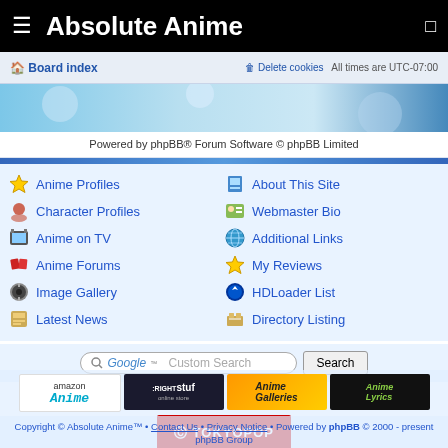Absolute Anime
Board index   Delete cookies   All times are UTC-07:00
Powered by phpBB® Forum Software © phpBB Limited
Anime Profiles
About This Site
Character Profiles
Webmaster Bio
Anime on TV
Additional Links
Anime Forums
My Reviews
Image Gallery
HDLoader List
Latest News
Directory Listing
Google Custom Search  Search
[Figure (logo): Amazon Anime logo banner]
[Figure (logo): RightStuf online store logo banner]
[Figure (logo): Anime Galleries logo banner]
[Figure (logo): Anime Lyrics logo banner]
[Figure (logo): TOKYOPOP logo banner]
Copyright © Absolute Anime™ • Contact Us • Privacy Notice • Powered by phpBB © 2000 - present phpBB Group